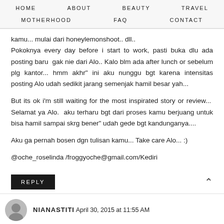HOME   ABOUT   BEAUTY   TRAVEL   MOTHERHOOD   FAQ   CONTACT
kamu... mulai dari honeylemonshoot.. dll.. Pokoknya every day before i start to work, pasti buka dlu ada posting baru gak nie dari Alo.. Kalo blm ada after lunch or sebelum plg kantor... hmm akhr" ini aku nunggu bgt karena intensitas posting Alo udah sedikit jarang semenjak hamil besar yah...

But its ok i'm still waiting for the most inspirated story or review... Selamat ya Alo. aku terharu bgt dari proses kamu berjuang untuk bisa hamil sampai skrg bener" udah gede bgt kandunganya....

Aku ga pernah bosen dgn tulisan kamu... Take care Alo... :)

@oche_roselinda /froggyoche@gmail.com/Kediri
REPLY
NIANASTITI April 30, 2015 at 11:55 AM